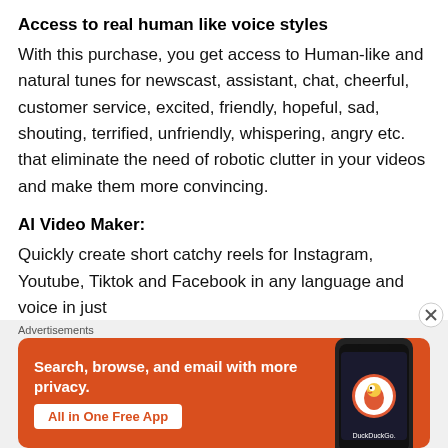Access to real human like voice styles
With this purchase, you get access to Human-like and natural tunes for newscast, assistant, chat, cheerful, customer service, excited, friendly, hopeful, sad, shouting, terrified, unfriendly, whispering, angry etc. that eliminate the need of robotic clutter in your videos and make them more convincing.
AI Video Maker:
Quickly create short catchy reels for Instagram, Youtube, Tiktok and Facebook in any language and voice in just
Advertisements
[Figure (infographic): DuckDuckGo advertisement banner on orange background. Text reads: Search, browse, and email with more privacy. All in One Free App. Shows a smartphone with DuckDuckGo logo.]